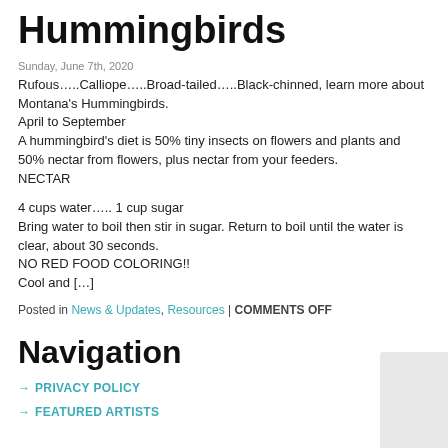Hummingbirds
Sunday, June 7th, 2020
Rufous…..Calliope…..Broad-tailed…..Black-chinned, learn more about Montana's Hummingbirds.
April to September
A hummingbird's diet is 50% tiny insects on flowers and plants and 50% nectar from flowers, plus nectar from your feeders.
NECTAR
4 cups water….. 1 cup sugar
Bring water to boil then stir in sugar. Return to boil until the water is clear, about 30 seconds.
NO RED FOOD COLORING!!
Cool and […]
Posted in News & Updates, Resources | COMMENTS OFF
Navigation
PRIVACY POLICY
FEATURED ARTISTS